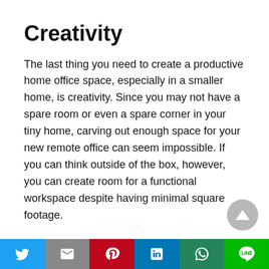Creativity
The last thing you need to create a productive home office space, especially in a smaller home, is creativity. Since you may not have a spare room or even a spare corner in your tiny home, carving out enough space for your new remote office can seem impossible. If you can think outside of the box, however, you can create room for a functional workspace despite having minimal square footage.
One creative home office solution that can work for smaller homes is upgrading a small closet. Using closet space can cut down on costs since you can...